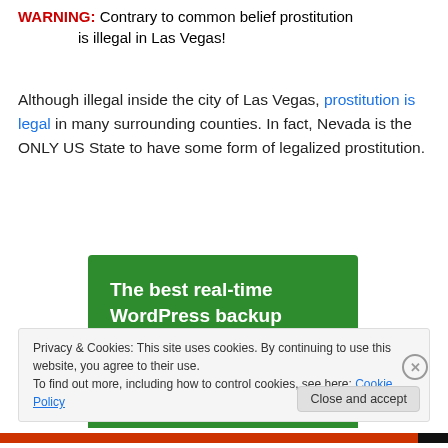WARNING: Contrary to common belief prostitution is illegal in Las Vegas!
Although illegal inside the city of Las Vegas, prostitution is legal in many surrounding counties. In fact, Nevada is the ONLY US State to have some form of legalized prostitution.
[Figure (other): Green advertisement banner reading 'The best real-time WordPress backup plugin']
Privacy & Cookies: This site uses cookies. By continuing to use this website, you agree to their use. To find out more, including how to control cookies, see here: Cookie Policy